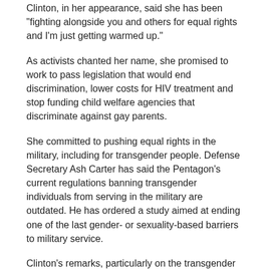Clinton, in her appearance, said she has been "fighting alongside you and others for equal rights and I'm just getting warmed up."
As activists chanted her name, she promised to work to pass legislation that would end discrimination, lower costs for HIV treatment and stop funding child welfare agencies that discriminate against gay parents.
She committed to pushing equal rights in the military, including for transgender people. Defense Secretary Ash Carter has said the Pentagon's current regulations banning transgender individuals from serving in the military are outdated. He has ordered a study aimed at ending one of the last gender- or sexuality-based barriers to military service.
Clinton's remarks, particularly on the transgender issue, were some of the strongest in the presidential campaign. "We need to say with one voice that transgender people are valued," she said. "They are loved and they are us."
This summer, her campaign jumped on the Supreme Court's watershed same-sex marriage decision, changing Clinton's red campaign logo to a rainbow colored H, releasing a video of gay wedding ceremonies and sending supportive tweets.
Clinton said Saturday that the court's decision could be